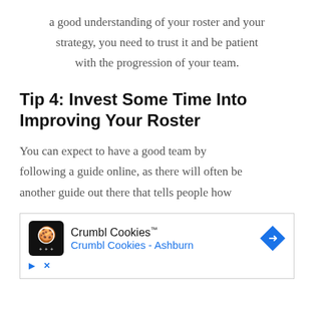a good understanding of your roster and your strategy, you need to trust it and be patient with the progression of your team.
Tip 4: Invest Some Time Into Improving Your Roster
You can expect to have a good team by following a guide online, as there will often be another guide out there that tells people how
[Figure (other): Advertisement for Crumbl Cookies showing logo, brand name with trademark symbol, and 'Crumbl Cookies - Ashburn' link in blue, with a blue diamond direction arrow icon, and ad controls (play and close buttons)]